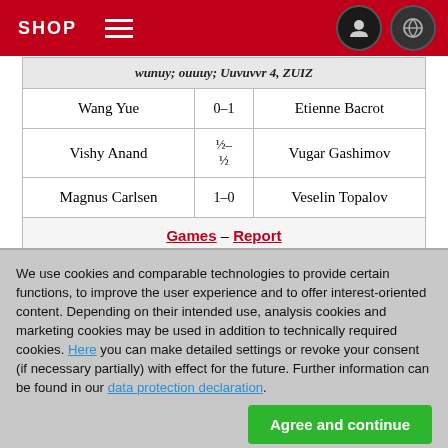SHOP
| [truncated header] |  |  |
| --- | --- | --- |
| Wang Yue | 0–1 | Etienne Bacrot |
| Vishy Anand | ½–½ | Vugar Gashimov |
| Magnus Carlsen | 1–0 | Veselin Topalov |
| Games – Report |  |  |
[Figure (logo): Chess.com logo with checkered pattern and red swoosh]
We use cookies and comparable technologies to provide certain functions, to improve the user experience and to offer interest-oriented content. Depending on their intended use, analysis cookies and marketing cookies may be used in addition to technically required cookies. Here you can make detailed settings or revoke your consent (if necessary partially) with effect for the future. Further information can be found in our data protection declaration.